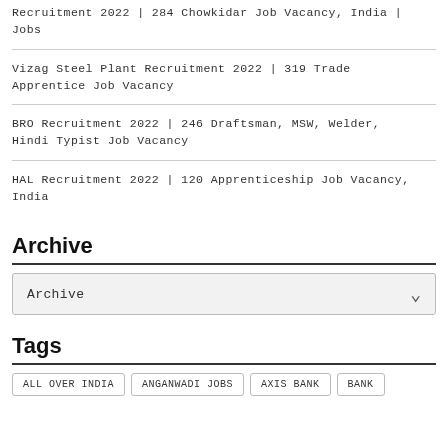Recruitment 2022 | 284 Chowkidar Job Vacancy, India | Jobs
Vizag Steel Plant Recruitment 2022 | 319 Trade Apprentice Job Vacancy
BRO Recruitment 2022 | 246 Draftsman, MSW, Welder, Hindi Typist Job Vacancy
HAL Recruitment 2022 | 120 Apprenticeship Job Vacancy, India
Archive
Archive
Tags
ALL OVER INDIA
ANGANWADI JOBS
AXIS BANK
BANK